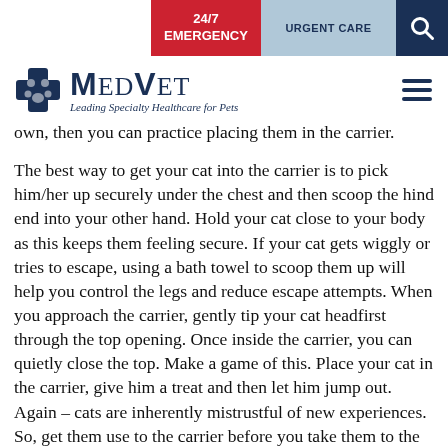REFERRAL PARTNER PORTAL | 24/7 EMERGENCY | URGENT CARE
[Figure (logo): MedVet logo with blue cross icon and tagline 'Leading Specialty Healthcare for Pets']
own, then you can practice placing them in the carrier.
The best way to get your cat into the carrier is to pick him/her up securely under the chest and then scoop the hind end into your other hand. Hold your cat close to your body as this keeps them feeling secure. If your cat gets wiggly or tries to escape, using a bath towel to scoop them up will help you control the legs and reduce escape attempts. When you approach the carrier, gently tip your cat headfirst through the top opening. Once inside the carrier, you can quietly close the top. Make a game of this. Place your cat in the carrier, give him a treat and then let him jump out. Again – cats are inherently mistrustful of new experiences. So, get them use to the carrier before you take them to the vet.
Covering the carrier with a blanket when you are driving